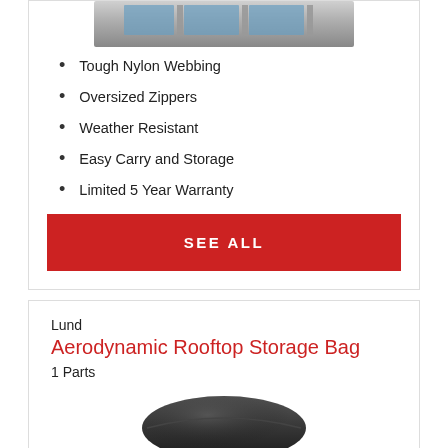[Figure (photo): Top portion of a car roof photo, partially cropped at top]
Tough Nylon Webbing
Oversized Zippers
Weather Resistant
Easy Carry and Storage
Limited 5 Year Warranty
SEE ALL
Lund
Aerodynamic Rooftop Storage Bag
1 Parts
[Figure (photo): Black aerodynamic rooftop storage bag, partially visible at bottom]